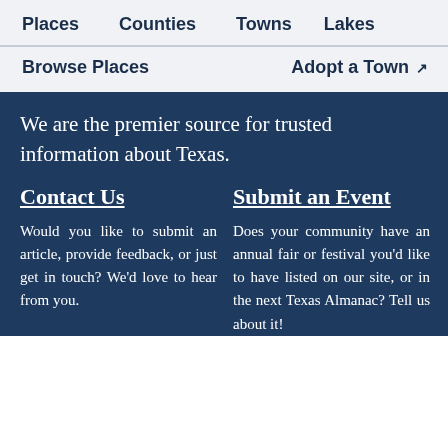Places   Counties   Towns   Lakes
Browse Places   Adopt a Town
We are the premier source for trusted information about Texas.
Contact Us
Would you like to submit an article, provide feedback, or just get in touch? We'd love to hear from you.
Submit an Event
Does your community have an annual fair or festival you'd like to have listed on our site, or in the next Texas Almanac? Tell us about it!